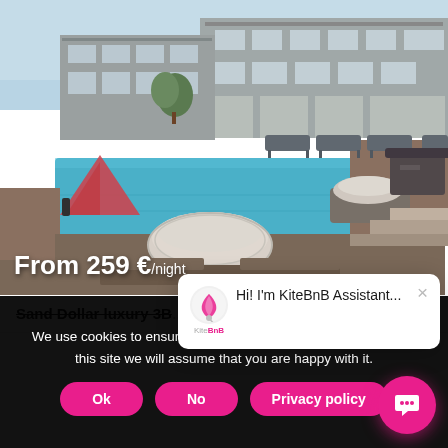[Figure (photo): Luxury villa with large infinity pool, sun loungers, and modern multi-storey building in the background. A rolled towel sits on the wooden deck in the foreground.]
From 259 €/night
Sand Dollar luxury 3B...
We use cookies to ensure the best experience on our website. If you continue to use this site we will assume that you are happy with it.
Ok
No
Privacy policy
Hi! I'm KiteBnB Assistant...